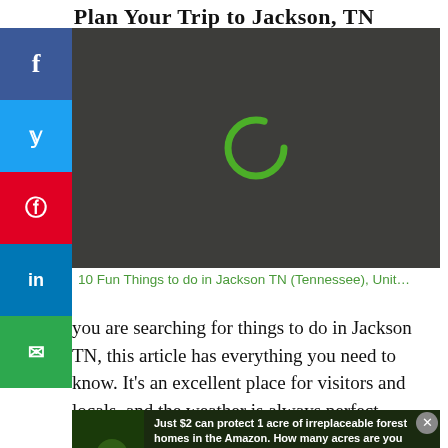Plan Your Trip to Jackson, TN
[Figure (screenshot): Dark video player area with a green loading spinner ring in the center, indicating a loading/buffering state. Background is dark charcoal color.]
10 Fun Things to do in Jackson TN (Tennessee), Unit…
you are searching for things to do in Jackson TN, this article has everything you need to know. It's an excellent place for visitors and locals, and the weather is always perfect.
[Figure (screenshot): Advertisement banner: 'Just $2 can protect 1 acre of irreplaceable forest homes in the Amazon. How many acres are you willing to protect?' with a PROTECT FORESTS NOW button over a forest background image.]